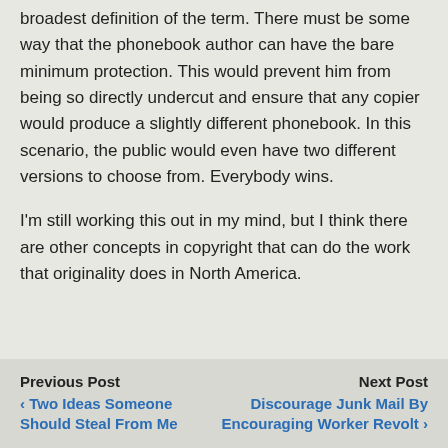broadest definition of the term. There must be some way that the phonebook author can have the bare minimum protection. This would prevent him from being so directly undercut and ensure that any copier would produce a slightly different phonebook. In this scenario, the public would even have two different versions to choose from. Everybody wins.
I'm still working this out in my mind, but I think there are other concepts in copyright that can do the work that originality does in North America.
Previous Post ‹ Two Ideas Someone Should Steal From Me   Next Post Discourage Junk Mail By Encouraging Worker Revolt ›